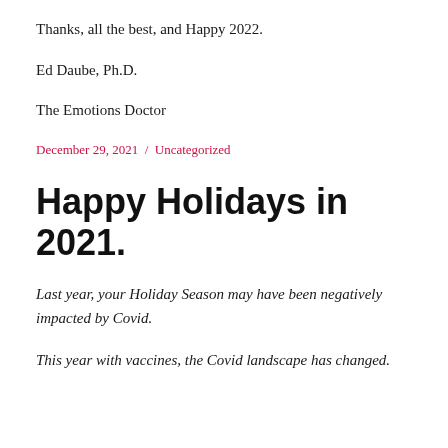Thanks, all the best, and Happy 2022.
Ed Daube, Ph.D.
The Emotions Doctor
December 29, 2021  /  Uncategorized
Happy Holidays in 2021.
Last year, your Holiday Season may have been negatively impacted by Covid.
This year with vaccines, the Covid landscape has changed.